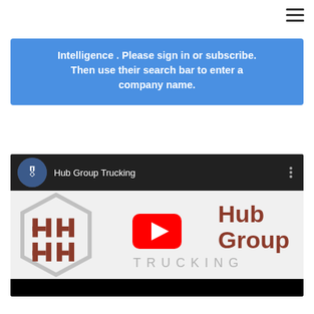Intelligence . Please sign in or subscribe. Then use their search bar to enter a company name.
[Figure (screenshot): YouTube video embed showing Hub Group Trucking channel with avatar, channel name, three-dot menu icon, and Hub Group Trucking logo thumbnail with YouTube play button overlay]